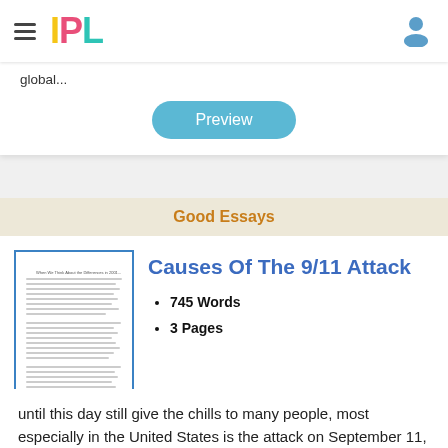IPL
global...
Preview
Good Essays
[Figure (illustration): Thumbnail image of an essay document with text lines]
Causes Of The 9/11 Attack
745 Words
3 Pages
until this day still give the chills to many people, most especially in the United States is the attack on September 11,